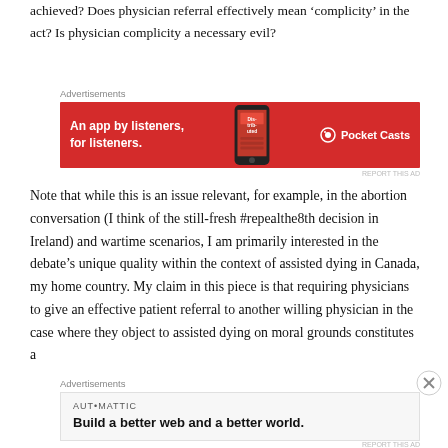achieved? Does physician referral effectively mean ‘complicity’ in the act? Is physician complicity a necessary evil?
[Figure (other): Advertisement banner for Pocket Casts app: red background with text 'An app by listeners, for listeners.' and phone image showing 'Distributed' text, Pocket Casts logo on right]
Note that while this is an issue relevant, for example, in the abortion conversation (I think of the still-fresh #repealthe8th decision in Ireland) and wartime scenarios, I am primarily interested in the debate’s unique quality within the context of assisted dying in Canada, my home country. My claim in this piece is that requiring physicians to give an effective patient referral to another willing physician in the case where they object to assisted dying on moral grounds constitutes a
[Figure (other): Advertisement for Automattic: white/grey background with 'AUTOMATTIC' label and text 'Build a better web and a better world.']